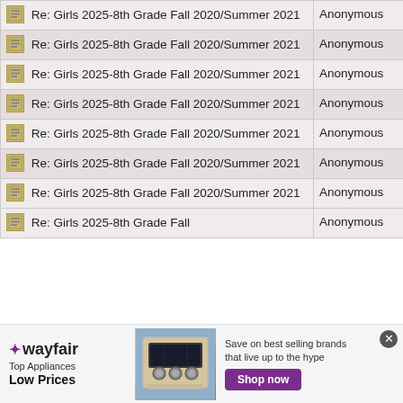| Thread | Author |
| --- | --- |
| [icon] Re: Girls 2025-8th Grade Fall 2020/Summer 2021 | Anonymous |
| [icon] Re: Girls 2025-8th Grade Fall 2020/Summer 2021 | Anonymous |
| [icon] Re: Girls 2025-8th Grade Fall 2020/Summer 2021 | Anonymous |
| [icon] Re: Girls 2025-8th Grade Fall 2020/Summer 2021 | Anonymous |
| [icon] Re: Girls 2025-8th Grade Fall 2020/Summer 2021 | Anonymous |
| [icon] Re: Girls 2025-8th Grade Fall 2020/Summer 2021 | Anonymous |
| [icon] Re: Girls 2025-8th Grade Fall 2020/Summer 2021 | Anonymous |
| [icon] Re: Girls 2025-8th Grade Fall ... | Anonymous |
[Figure (illustration): Wayfair advertisement banner: 'Top Appliances Low Prices', image of a stove/range appliance, 'Save on best selling brands that live up to the hype' with a purple 'Shop now' button]